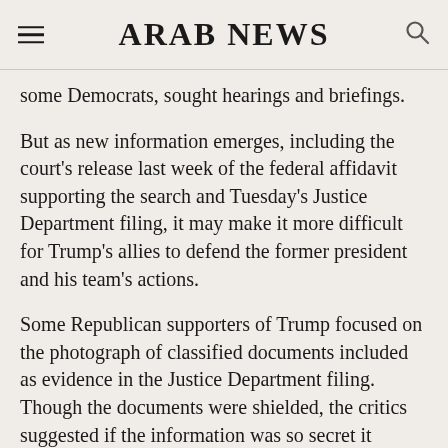ARAB NEWS
some Democrats, sought hearings and briefings.
But as new information emerges, including the court's release last week of the federal affidavit supporting the search and Tuesday's Justice Department filing, it may make it more difficult for Trump's allies to defend the former president and his team's actions.
Some Republican supporters of Trump focused on the photograph of classified documents included as evidence in the Justice Department filing. Though the documents were shielded, the critics suggested if the information was so secret it should not have been publicly released. “You people are so bad at this,” tweeted Trump ally